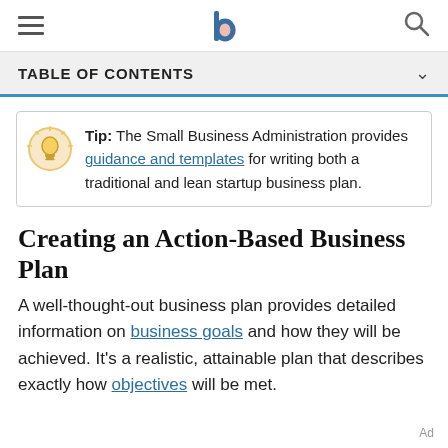[Figure (screenshot): Navigation bar with hamburger menu icon, centered logo (stylized 'b' with teal circle), and search icon]
TABLE OF CONTENTS
Tip: The Small Business Administration provides guidance and templates for writing both a traditional and lean startup business plan.
Creating an Action-Based Business Plan
A well-thought-out business plan provides detailed information on business goals and how they will be achieved. It's a realistic, attainable plan that describes exactly how objectives will be met.
Ad